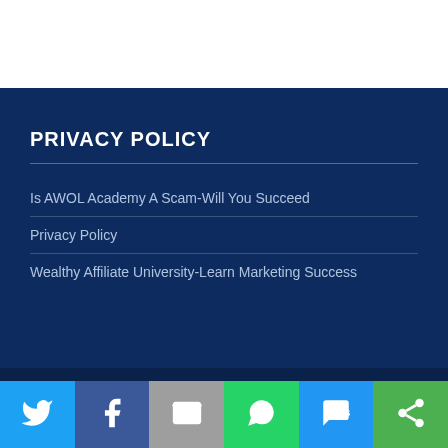PRIVACY POLICY
Is AWOL Academy A Scam-Will You Succeed
Privacy Policy
Wealthy Affiliate University-Learn Marketing Success
[Figure (infographic): Social sharing bar with icons for Twitter, Facebook, Email, WhatsApp, SMS, and More]